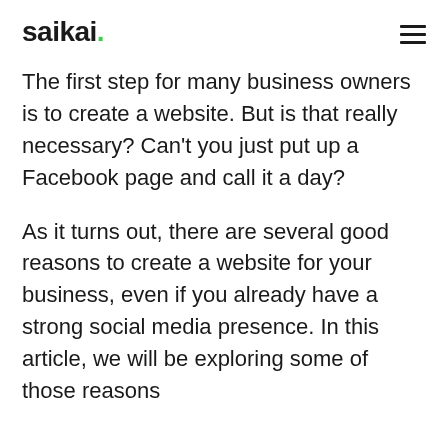saikai.
The first step for many business owners is to create a website. But is that really necessary? Can't you just put up a Facebook page and call it a day?
As it turns out, there are several good reasons to create a website for your business, even if you already have a strong social media presence. In this article, we will be exploring some of those reasons